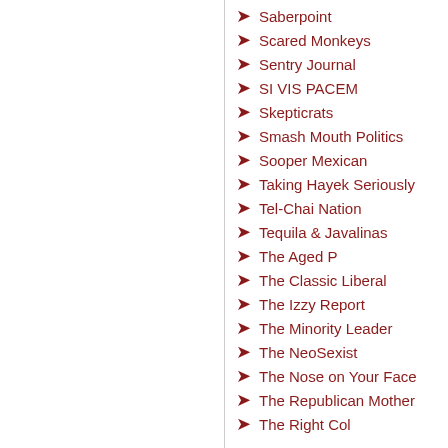Saberpoint
Scared Monkeys
Sentry Journal
SI VIS PACEM
Skepticrats
Smash Mouth Politics
Sooper Mexican
Taking Hayek Seriously
Tel-Chai Nation
Tequila & Javalinas
The Aged P
The Classic Liberal
The Izzy Report
The Minority Leader
The NeoSexist
The Nose on Your Face
The Republican Mother
The Right Col...